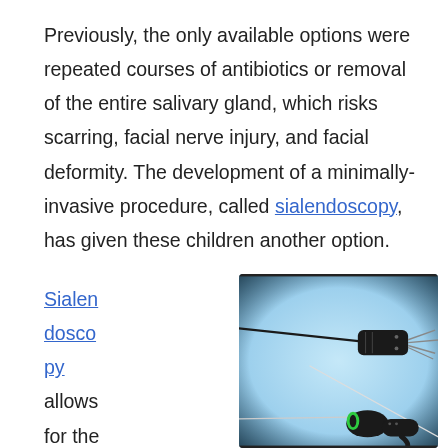Previously, the only available options were repeated courses of antibiotics or removal of the entire salivary gland, which risks scarring, facial nerve injury, and facial deformity. The development of a minimally-invasive procedure, called sialendoscopy, has given these children another option.
Sialendoscopy allows for the simult
[Figure (photo): Photo of sialendoscopy instruments — two black-handled endoscopic tools against a light blue background. The upper instrument has a long thin probe with multi-pronged tip. The lower instrument has a round-handled grip with a thin flexible wire.]